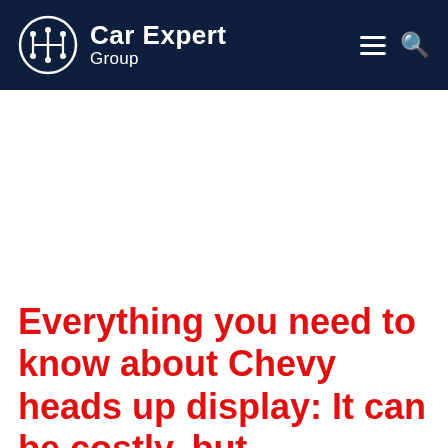Car Expert Group
Everything you need to know about Chevy heads up display: It can be costly, but